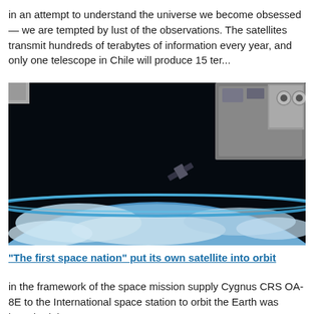in an attempt to understand the universe we become obsessed — we are tempted by lust of the observations. The satellites transmit hundreds of terabytes of information every year, and only one telescope in Chile will produce 15 ter...
[Figure (photo): A satellite being deployed from the International Space Station with solar panels visible in the foreground and Earth's surface and atmosphere visible below against the black of space.]
"The first space nation" put its own satellite into orbit
in the framework of the space mission supply Cygnus CRS OA-8E to the International space station to orbit the Earth was launched the